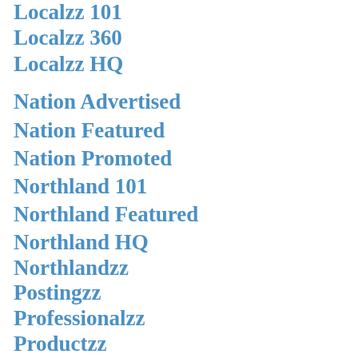Localzz 101
Localzz 360
Localzz HQ
Nation Advertised
Nation Featured
Nation Promoted
Northland 101
Northland Featured
Northland HQ
Northlandzz
Postingzz
Professionalzz
Productzz
Repairzz
See Businesses
Serviceizze
Servicezz